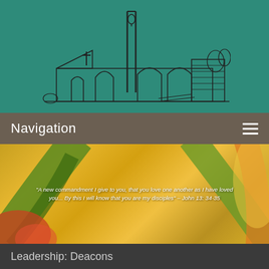[Figure (illustration): Line drawing / sketch of a church building with bell tower on teal/green background, serving as the website header image]
Navigation
[Figure (photo): Close-up photo of colorful tropical fish or floral elements in yellow, green, orange, and red tones, used as a hero banner image with a Bible verse overlay]
"A new commandment I give to you, that you love one another as I have loved you... By this I will know that you are my disciples" – John 13: 34-35
Leadership: Deacons